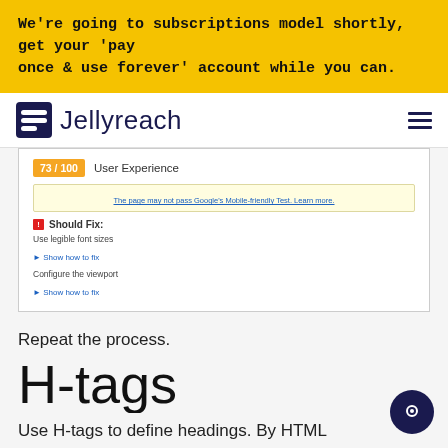We're going to subscriptions model shortly, get your 'pay once & use forever' account while you can.
[Figure (logo): Jellyreach logo with hamburger menu icon]
[Figure (screenshot): Screenshot showing 73/100 User Experience score with Should Fix items: Use legible font sizes and Configure the viewport, each with Show how to fix links]
Repeat the process.
H-tags
Use H-tags to define headings. By HTML